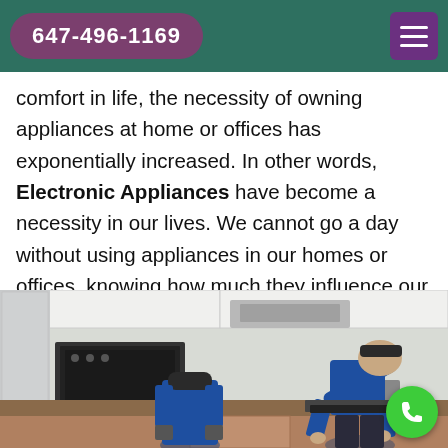647-496-1169
comfort in life, the necessity of owning appliances at home or offices has exponentially increased. In other words, Electronic Appliances have become a necessity in our lives. We cannot go a day without using appliances in our homes or offices, knowing how much they influence our lives. Our houses are never complete without them. Our day seems unfinished. Electronic appliances provide us extreme comfort in our lifestyle. They make your daily life easier and cause us great convenience.
[Figure (photo): Two technicians in blue uniforms working in a kitchen with appliances including an oven and range hood.]